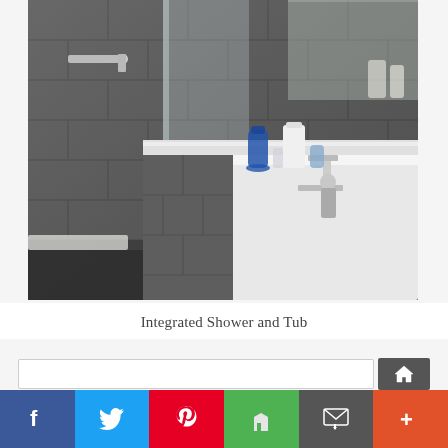[Figure (photo): Integrated shower and bathtub in a modern bathroom with dark grey slate tiles, glass shower partition, chrome faucets, and decorative bottles/vases on the tub surround.]
Integrated Shower and Tub
[Figure (screenshot): Social media sharing bar with buttons for Facebook (blue), Twitter (light blue), Pinterest (red), Houzz (green), Email/message (dark grey), and More (orange-red). Above the bar is a partial search input field.]